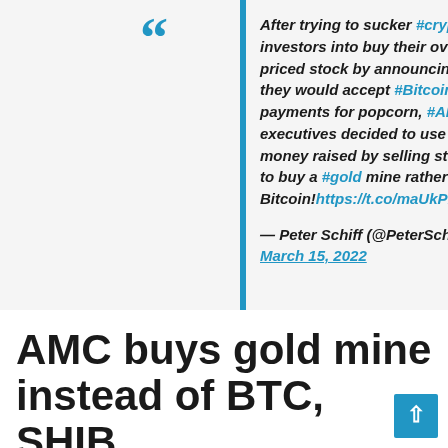After trying to sucker #crypto investors into buy their over-priced stock by announcing they would accept #Bitcoin payments for popcorn, #AMC executives decided to use the money raised by selling stock to buy a #gold mine rather than Bitcoin!https://t.co/maUkPEfyJq
— Peter Schiff (@PeterSchiff) March 15, 2022
AMC buys gold mine instead of BTC, SHIB,